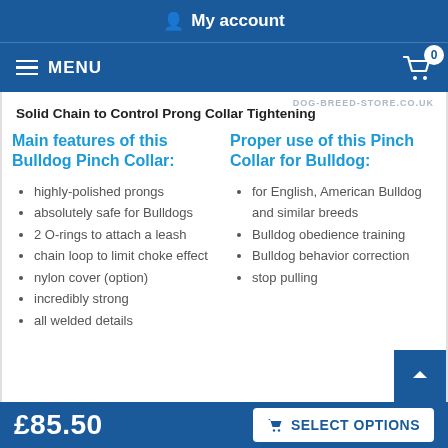My account
MENU  0
DOG-BREED-STORE.CO.UK
Solid Chain to Control Prong Collar Tightening
Main features of this Bulldog Pinch Collar:
Proper use of this Pinch Collar for Bulldog:
highly-polished prongs
absolutely safe for Bulldogs
2 O-rings to attach a leash
chain loop to limit choke effect
nylon cover (option)
incredibly strong
all welded details
for English, American Bulldog and similar breeds
Bulldog obedience training
Bulldog behavior correction
stop pulling
£85.50
SELECT OPTIONS